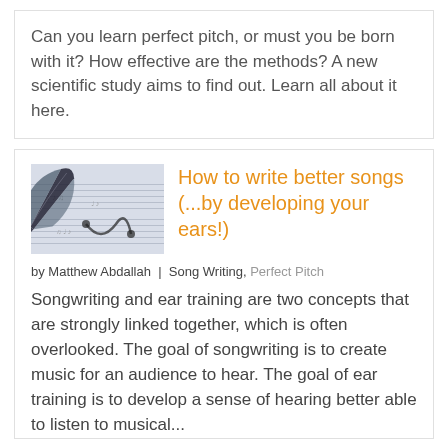Can you learn perfect pitch, or must you be born with it? How effective are the methods? A new scientific study aims to find out. Learn all about it here.
[Figure (photo): A quill pen resting on sheet music notation pages]
How to write better songs (...by developing your ears!)
by Matthew Abdallah | Song Writing, Perfect Pitch
Songwriting and ear training are two concepts that are strongly linked together, which is often overlooked. The goal of songwriting is to create music for an audience to hear. The goal of ear training is to develop a sense of hearing better able to listen to musical...